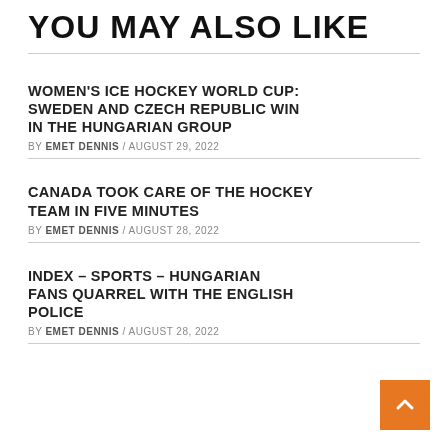YOU MAY ALSO LIKE
WOMEN'S ICE HOCKEY WORLD CUP: SWEDEN AND CZECH REPUBLIC WIN IN THE HUNGARIAN GROUP
BY EMET DENNIS / AUGUST 29, 2022
CANADA TOOK CARE OF THE HOCKEY TEAM IN FIVE MINUTES
BY EMET DENNIS / AUGUST 28, 2022
INDEX – SPORTS – HUNGARIAN FANS QUARREL WITH THE ENGLISH POLICE
BY EMET DENNIS / AUGUST 28, 2022